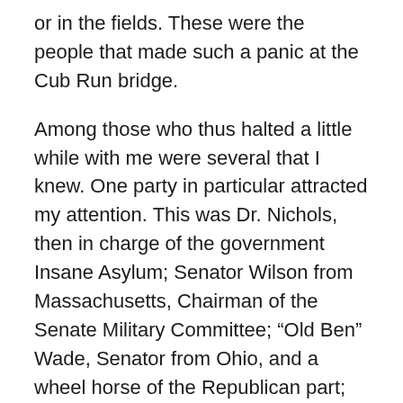or in the fields. These were the people that made such a panic at the Cub Run bridge.
Among those who thus halted a little while with me were several that I knew. One party in particular attracted my attention. This was Dr. Nichols, then in charge of the government Insane Asylum; Senator Wilson from Massachusetts, Chairman of the Senate Military Committee; “Old Ben” Wade, Senator from Ohio, and a wheel horse of the Republican part; and “Old Jim” Lane, senator from Kansas, and another political war horse. All of these were full of the “On to Richmond” fever, and were impatient to see more of the battle. I endeavored to dissuade them from proceeding further, that if they would only remain awhile they would probably see as much of it as they would care to see. But Old Jim was firey, he said